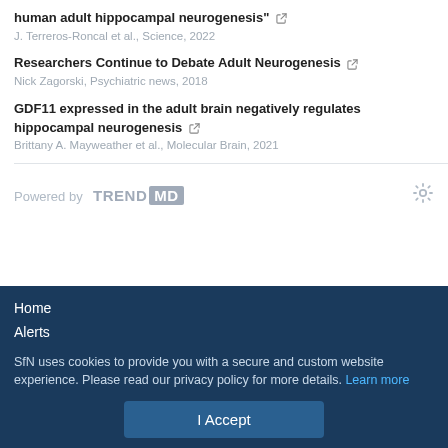human adult hippocampal neurogenesis"
J. Terreros-Roncal et al., Science, 2022
Researchers Continue to Debate Adult Neurogenesis
Nick Zagorski, Psychiatric news, 2018
GDF11 expressed in the adult brain negatively regulates hippocampal neurogenesis
Brittany A. Mayweather et al., Molecular Brain, 2021
Powered by TRENDMD
Home
Alerts
SfN uses cookies to provide you with a secure and custom website experience. Please read our privacy policy for more details. Learn more
I Accept